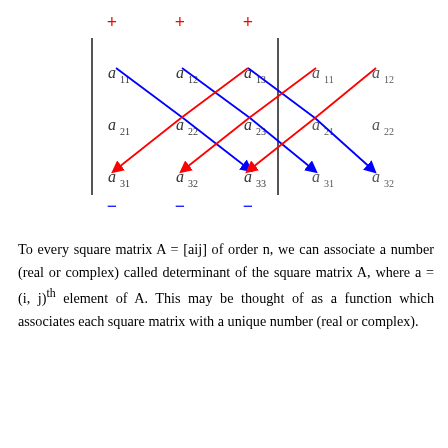[Figure (math-figure): Sarrus' rule diagram for 3x3 determinant expansion. Shows a 3x3 matrix with elements a_11, a_12, a_13, a_21, a_22, a_23, a_31, a_32, a_33 bracketed by vertical lines, with two repeated columns a_11, a_12 and a_21, a_22 and a_31, a_32 appended to the right. Red diagonal arrows indicate negative products (going down-left), blue diagonal arrows indicate positive products (going down-right). Plus signs in red at top for positive diagonals, minus signs in blue at bottom for negative diagonals.]
To every square matrix A = [aij] of order n, we can associate a number (real or complex) called determinant of the square matrix A, where a = (i, j)th element of A. This may be thought of as a function which associates each square matrix with a unique number (real or complex).